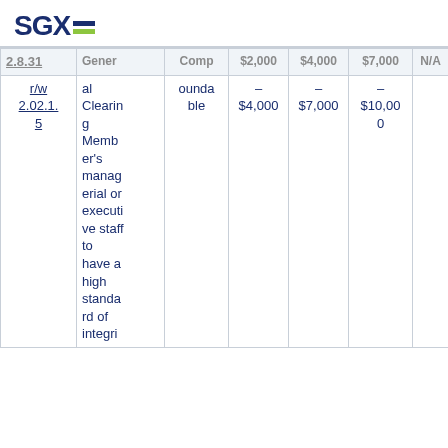SGX
|  | General Clearing Member's managerial or executive staff to have a high standard of integri... | Compoundable | $2,000 – $4,000 | $4,000 – $7,000 | $7,000 – $10,000 | N/A |
| --- | --- | --- | --- | --- | --- | --- |
| 2.8.31 r/w 2.02.1.5 | General Clearing Member's managerial or executive staff to have a high standard of integri... | Compoundable | $2,000 – $4,000 | $4,000 – $7,000 | $7,000 – $10,000 | N/A |